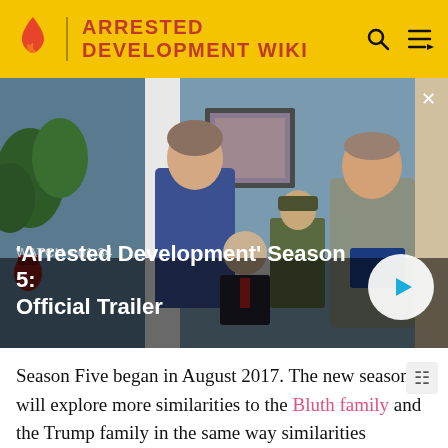ARRESTED DEVELOPMENT WIKI
[Figure (screenshot): Video thumbnail showing actors from Arrested Development Season 5, with label 'WATCH • 01:34' and title ''Arrested Development' Season 5: Official Trailer', with a play button overlay.]
Season Five began in August 2017. The new season will explore more similarities to the Bluth family and the Trump family in the same way similarities between the Bush family were explored in the first three seasons.[4] Bateman also told EW radio that the theme of the fifth